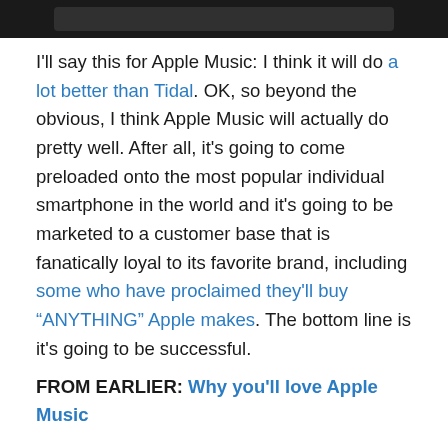[Figure (screenshot): Dark banner image at top of page, showing a partial interface screenshot on black background]
I'll say this for Apple Music: I think it will do a lot better than Tidal. OK, so beyond the obvious, I think Apple Music will actually do pretty well. After all, it's going to come preloaded onto the most popular individual smartphone in the world and it's going to be marketed to a customer base that is fanatically loyal to its favorite brand, including some who have proclaimed they'll buy “ANYTHING” Apple makes. The bottom line is it’s going to be successful.
FROM EARLIER: Why you'll love Apple Music